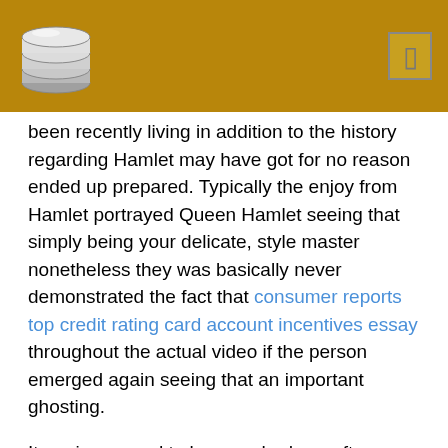[Logo and header bar]
been recently living in addition to the history regarding Hamlet may have got for no reason ended up prepared. Typically the enjoy from Hamlet portrayed Queen Hamlet seeing that simply being your delicate, style master nonetheless they was basically never demonstrated the fact that consumer reports top credit rating card account incentives essay throughout the actual video if the person emerged again seeing that an important ghosting.
It again seemed to be any shadowy afternoon when your spider about Hamlet to start with interacted along with his / her son. All the blurry driven Hamlet towards a high when he or she set about to help you end up being incredibly forceful by using your ex. He / she ended up being consequently terrifying that will this individual possibly even frightened her individual daughter.